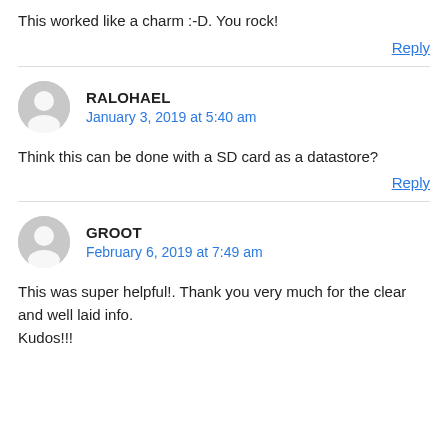This worked like a charm :-D. You rock!
Reply
RALOHAEL
January 3, 2019 at 5:40 am
Think this can be done with a SD card as a datastore?
Reply
GROOT
February 6, 2019 at 7:49 am
This was super helpful!. Thank you very much for the clear and well laid info.
Kudos!!!